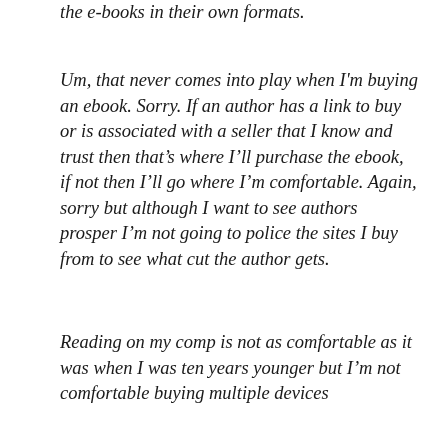the e-books in their own formats.
Um, that never comes into play when I'm buying an ebook. Sorry. If an author has a link to buy or is associated with a seller that I know and trust then that's where I'll purchase the ebook, if not then I'll go where I'm comfortable. Again, sorry but although I want to see authors prosper I'm not going to police the sites I buy from to see what cut the author gets.
Reading on my comp is not as comfortable as it was when I was ten years younger but I'm not comfortable buying multiple devices